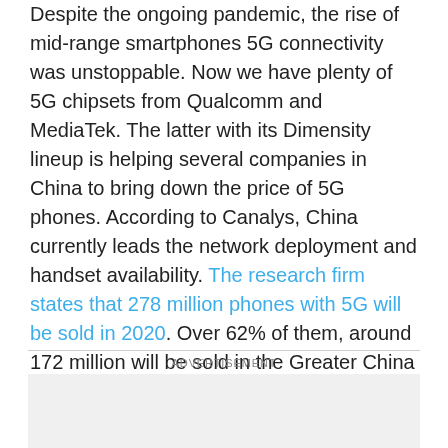Despite the ongoing pandemic, the rise of mid-range smartphones 5G connectivity was unstoppable. Now we have plenty of 5G chipsets from Qualcomm and MediaTek. The latter with its Dimensity lineup is helping several companies in China to bring down the price of 5G phones. According to Canalys, China currently leads the network deployment and handset availability. The research firm states that 278 million phones with 5G will be sold in 2020. Over 62% of them, around 172 million will be sold in the Greater China market.
ADVERTISEMENT